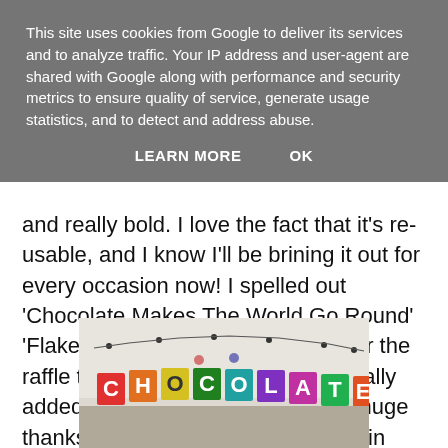This site uses cookies from Google to deliver its services and to analyze traffic. Your IP address and user-agent are shared with Google along with performance and security metrics to ensure quality of service, generate usage statistics, and to detect and address abuse.
LEARN MORE   OK
and really bold. I love the fact that it's re-usable, and I know I'll be brining it out for every occasion now! I spelled out 'Chocolate Makes The World Go Round' 'Flake' 'Oreo' 'Wispa' and 'Prizes' for the raffle table - I think you'll agree it really added some pizzaz to the room. A huge thanks to Bimbily for their kindness in sending it over.
[Figure (photo): Photo of a colorful letter banner spelling out 'CHOCOLATE' hung against a light wall, with bright multi-colored letters on triangular bunting flags.]